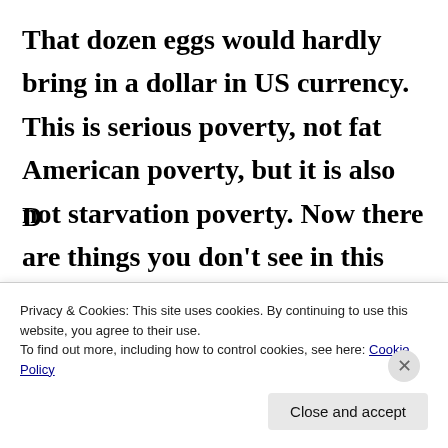That dozen eggs would hardly bring in a dollar in US currency. This is serious poverty, not fat American poverty, but it is also not starvation poverty. Now there are things you don't see in this picture. The effects of the failure of the old Soviet system is one of them.
Privacy & Cookies: This site uses cookies. By continuing to use this website, you agree to their use.
To find out more, including how to control cookies, see here: Cookie Policy
Close and accept